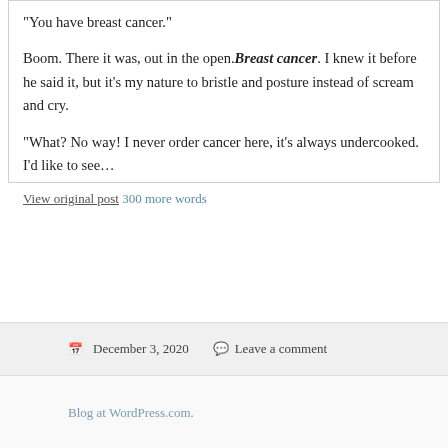“You have breast cancer.”
Boom. There it was, out in the open. Breast cancer. I knew it before he said it, but it’s my nature to bristle and posture instead of scream and cry.
“What? No way! I never order cancer here, it’s always undercooked. I’d like to see…
View original post 300 more words
December 3, 2020   Leave a comment
Blog at WordPress.com.